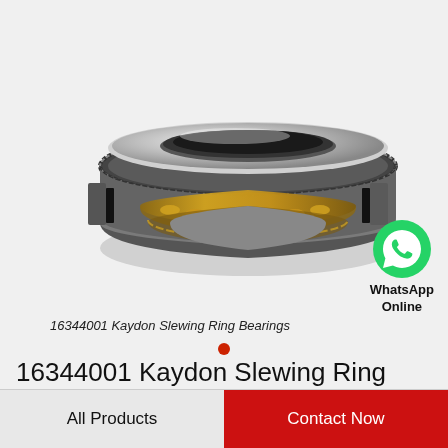[Figure (photo): 16344001 Kaydon Slewing Ring Bearing - a large circular bearing with toothed outer ring and golden/bronze ball race visible in cross-section cutaway view]
16344001 Kaydon Slewing Ring Bearings
[Figure (logo): WhatsApp green circle icon with phone handset, labeled WhatsApp Online]
16344001 Kaydon Slewing Ring Bearings
All Products   Contact Now